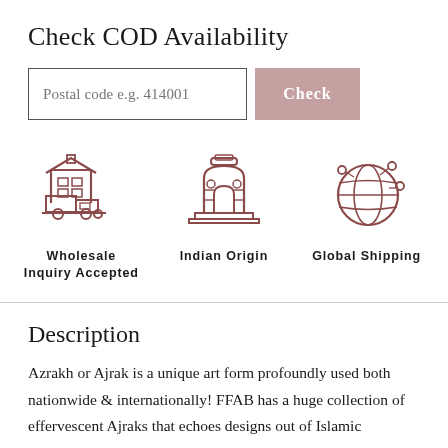Check COD Availability
Postal code e.g. 414001
[Figure (illustration): Three icons in a row: (1) Warehouse/delivery truck icon for Wholesale Inquiry Accepted, (2) India Gate monument icon for Indian Origin, (3) Globe/network icon for Global Shipping]
Wholesale Inquiry Accepted
Indian Origin
Global Shipping
Description
Azrakh or Ajrak is a unique art form profoundly used both nationwide & internationally! FFAB has a huge collection of effervescent Ajraks that echoes designs out of Islamic